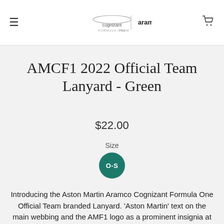[Figure (logo): Aston Martin Cognizant Formula One Team logo with aramco branding]
AMCF1 2022 Official Team Lanyard - Green
$22.00
Size
O-S
Introducing the Aston Martin Aramco Cognizant Formula One Official Team branded Lanyard. 'Aston Martin' text on the main webbing and the AMF1 logo as a prominent insignia at the...